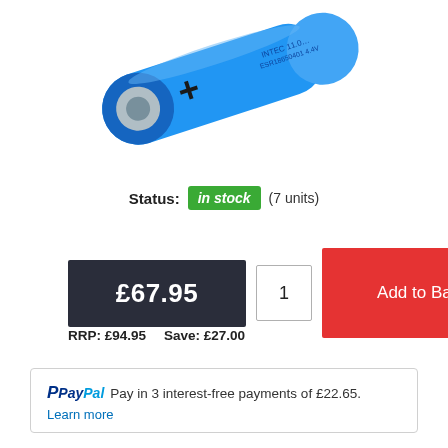[Figure (photo): Blue cylindrical lithium battery with a + symbol on the positive terminal, shown at a diagonal angle. Text on battery reads INTEC and ESR18650401.]
Status: in stock (7 units)
£67.95
Add to Basket
RRP: £94.95    Save: £27.00
PayPal Pay in 3 interest-free payments of £22.65. Learn more